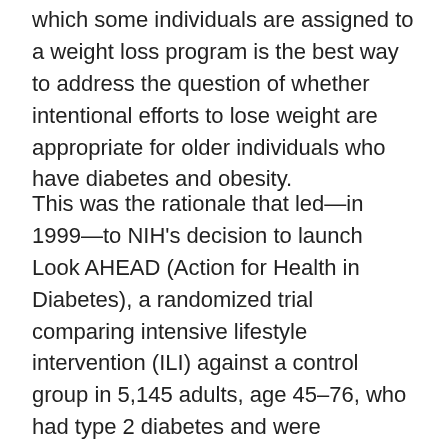which some individuals are assigned to a weight loss program is the best way to address the question of whether intentional efforts to lose weight are appropriate for older individuals who have diabetes and obesity.
This was the rationale that led—in 1999—to NIH's decision to launch Look AHEAD (Action for Health in Diabetes), a randomized trial comparing intensive lifestyle intervention (ILI) against a control group in 5,145 adults, age 45–76, who had type 2 diabetes and were overweight/obese. Look AHEAD was continued as a randomized trial for 10 years and was then converted to an observational study with an additional 10 years of follow-up. Dr. Rena Wing will review the design of the trial and its primary outcome on cardiovascular morbidity and mortality and discuss several possible explanations for these results, including issues related